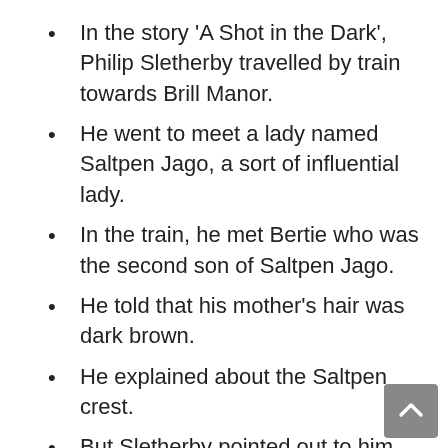In the story 'A Shot in the Dark', Philip Sletherby travelled by train towards Brill Manor.
He went to meet a lady named Saltpen Jago, a sort of influential lady.
In the train, he met Bertie who was the second son of Saltpen Jago.
He told that his mother's hair was dark brown.
He explained about the Saltpen crest.
But Sletherby pointed out to him that his mother's letter had a Jago crest.
Bertie needed three quid desperately and asked Sletherby to lend it to him.
Sletherby was not ready to give money, since he knew Mrs. Saltpen Jago was a blonde.
Later he came to know that Bertie's mother